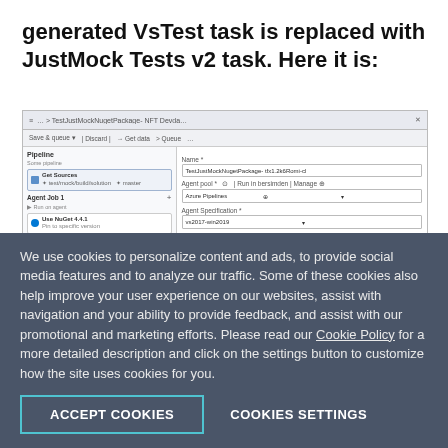generated VsTest task is replaced with JustMock Tests v2 task. Here it is:
[Figure (screenshot): Screenshot of an Azure DevOps pipeline configuration interface showing a pipeline with tasks including Use NuGet 4.4.1, NuGet Restore, Build solution, and another task on the left panel, and pipeline settings form on the right with fields for Name, Agent pool, Agent Specification, and Parameters.]
We use cookies to personalize content and ads, to provide social media features and to analyze our traffic. Some of these cookies also help improve your user experience on our websites, assist with navigation and your ability to provide feedback, and assist with our promotional and marketing efforts. Please read our Cookie Policy for a more detailed description and click on the settings button to customize how the site uses cookies for you.
ACCEPT COOKIES
COOKIES SETTINGS